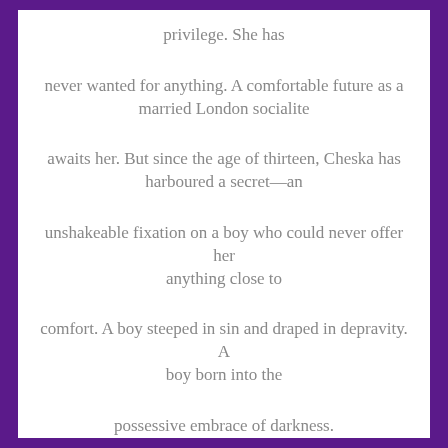privilege. She has

never wanted for anything. A comfortable future as a married London socialite

awaits her. But since the age of thirteen, Cheska has harboured a secret—an

unshakeable fixation on a boy who could never offer her anything close to

comfort. A boy steeped in sin and draped in depravity. A boy born into the

possessive embrace of darkness.